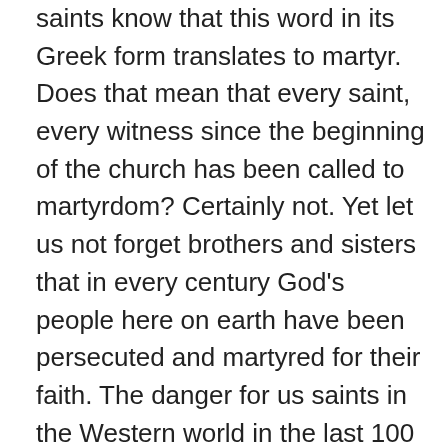saints know that this word in its Greek form translates to martyr. Does that mean that every saint, every witness since the beginning of the church has been called to martyrdom? Certainly not. Yet let us not forget brothers and sisters that in every century God's people here on earth have been persecuted and martyred for their faith. The danger for us saints in the Western world in the last 100 years has been that we have not been so-called. Other saints around the world cannot say that, whether that is Africa or Asia or China or the Middle East, they have continued to be persecuted and martyred for their faith. For most of Europe and North America, this has not been the case with some noticeable exceptions during periods of war and so on. Now, one would imagine that living in an atmosphere where one is allowed to worship freely without any state or religious interference that